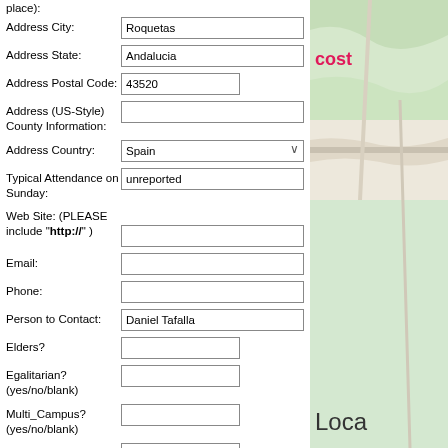place):
Address City: Roquetas
Address State: Andalucia
Address Postal Code: 43520
Address (US-Style) County Information:
Address Country: Spain
Typical Attendance on Sunday: unreported
Web Site: (PLEASE include "http://" )
Email:
Phone:
Person to Contact: Daniel Tafalla
Elders?
Egalitarian? (yes/no/blank)
Multi_Campus? (yes/no/blank)
Instrumental / band (yes/no/blank)
Both Instrumental AND Acappella (yes/no/blank)
[Figure (map): Partial map showing green terrain with 'cost' text in pink/red and 'Loca' text partially visible at bottom right]